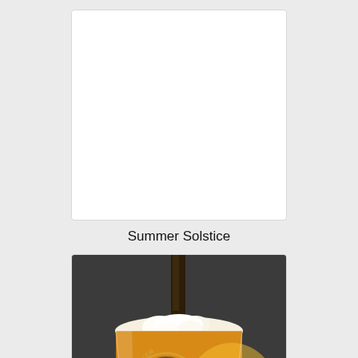[Figure (photo): White blank image placeholder with border]
Summer Solstice
[Figure (photo): Beer being poured into a glass with Beer Day logo, amber/golden color with foam on dark background]
Summer Hazy Love
[Figure (photo): White blank image placeholder with border, partially visible]